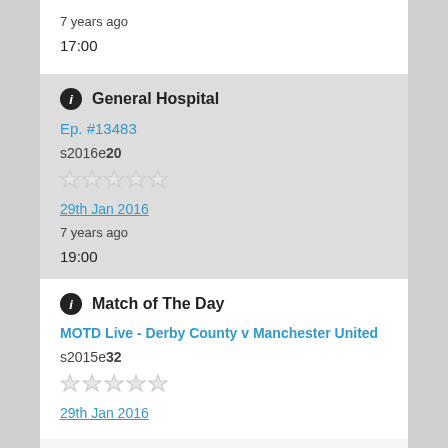7 years ago
17:00
General Hospital
Ep. #13483
s2016e20
29th Jan 2016
7 years ago
19:00
Match of The Day
MOTD Live - Derby County v Manchester United
s2015e32
29th Jan 2016